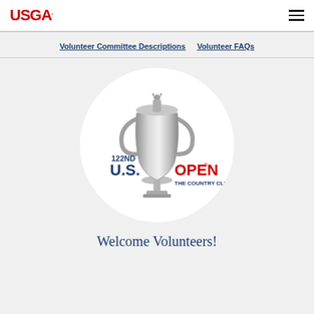USGA.
Volunteer Committee Descriptions   Volunteer FAQs
[Figure (logo): 122nd U.S. Open The Country Club logo with trophy/cup image inside a white circle on grey background]
Welcome Volunteers!